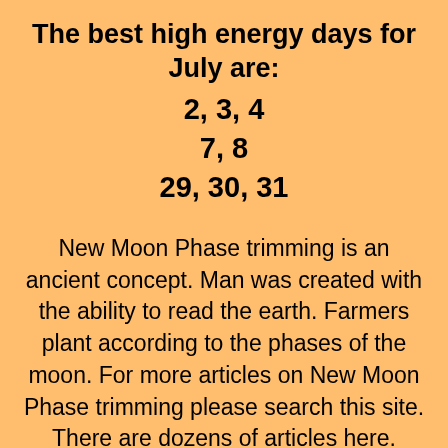The best high energy days for July are:
2, 3, 4
7, 8
29, 30, 31
New Moon Phase trimming is an ancient concept. Man was created with the ability to read the earth. Farmers plant according to the phases of the moon. For more articles on New Moon Phase trimming please search this site. There are dozens of articles here.